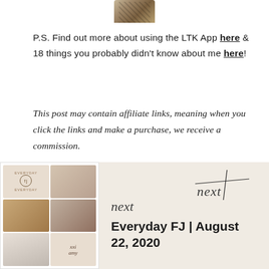[Figure (photo): Partial view of a leopard print clothing item at the top of the page]
P.S. Find out more about using the LTK App here & 18 things you probably didn't know about me here!
This post may contain affiliate links, meaning when you click the links and make a purchase, we receive a commission.
[Figure (illustration): Next post banner with a collage thumbnail image on the left showing fashion/lifestyle photos, a cursive 'next' script graphic, and the post title 'Everyday FJ | August 22, 2020']